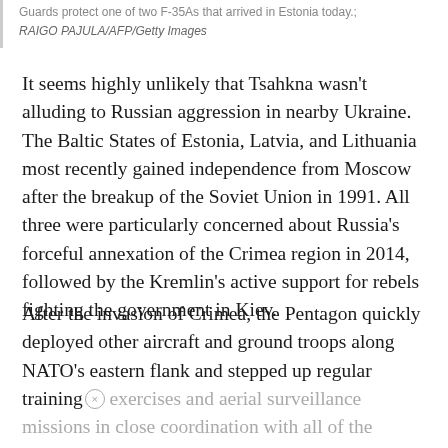Guards protect one of two F-35As that arrived in Estonia today.; RAIGO PAJULA/AFP/Getty Images
It seems highly unlikely that Tsahkna wasn't alluding to Russian aggression in nearby Ukraine. The Baltic States of Estonia, Latvia, and Lithuania most recently gained independence from Moscow after the breakup of the Soviet Union in 1991. All three were particularly concerned about Russia's forceful annexation of the Crimea region in 2014, followed by the Kremlin's active support for rebels fighting the government in Kiev.
After the invasion of Crimea, the Pentagon quickly deployed other aircraft and ground troops along NATO's eastern flank and stepped up regular training exercises and aerial surveillance missions in close coordination with all of the alliance's members.